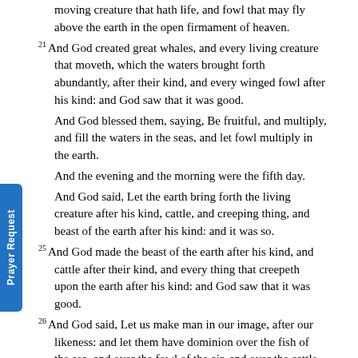...And God said, Let the waters bring forth abundantly, the moving creature that hath life, and fowl that may fly above the earth in the open firmament of heaven.
21 And God created great whales, and every living creature that moveth, which the waters brought forth abundantly, after their kind, and every winged fowl after his kind: and God saw that it was good.
And God blessed them, saying, Be fruitful, and multiply, and fill the waters in the seas, and let fowl multiply in the earth.
And the evening and the morning were the fifth day.
And God said, Let the earth bring forth the living creature after his kind, cattle, and creeping thing, and beast of the earth after his kind: and it was so.
25 And God made the beast of the earth after his kind, and cattle after their kind, and every thing that creepeth upon the earth after his kind: and God saw that it was good.
26 And God said, Let us make man in our image, after our likeness: and let them have dominion over the fish of the sea, and over the fowl of the air, and over the cattle, and over all the earth, and over every creeping thing